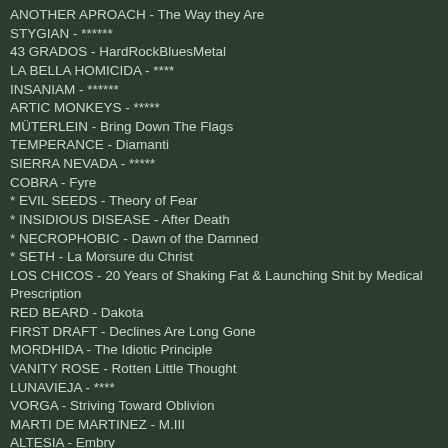ANOTHER APROACH - The Way they Are
STYGIAN - ******
43 GRADOS - HardRockBluesMetal
LA BELLA HOMICIDA - ****
INSANIAM - ******
ARTIC MONKEYS - *****
MÜTERLEIN - Bring Down The Flags
TEMPERANCE - Diamanti
SIERRA NEVADA - *****
COBRA - Fyre
* EVIL SEEDS - Theory of Fear
* INSIDIOUS DISEASE - After Death
* NECROPHOBIC - Dawn of the Damned
* SETH - La Morsure du Christ
LOS CHICOS - 20 Years of Shaking Fat & Launching Shit by Medical Prescription
RED BEARD - Dakota
FIRST DRAFT - Declines Are Long Gone
MORDHIDA - The Idiotic Principle
VANITY ROSE - Rotten Little Thought
LUNAVIEJA - ****
VORGA - Striving Toward Oblivion
MARTI DE MARTINEZ - M.III
ALTESIA - Embry
BASIC NEEDS - As it Is